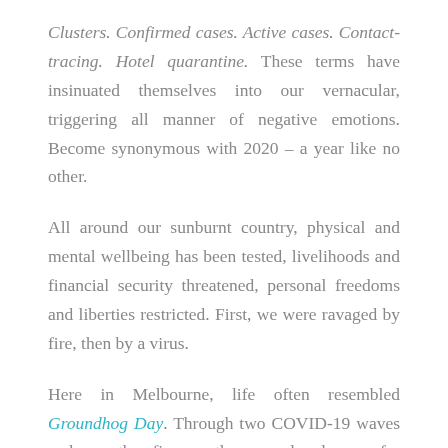Clusters. Confirmed cases. Active cases. Contact-tracing. Hotel quarantine. These terms have insinuated themselves into our vernacular, triggering all manner of negative emotions. Become synonymous with 2020 – a year like no other.
All around our sunburnt country, physical and mental wellbeing has been tested, livelihoods and financial security threatened, personal freedoms and liberties restricted. First, we were ravaged by fire, then by a virus.
Here in Melbourne, life often resembled Groundhog Day. Through two COVID-19 waves and more than five months, we endured some of